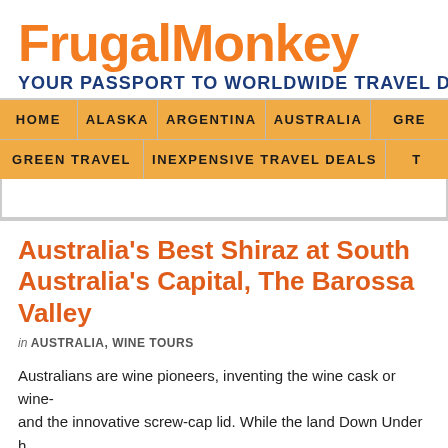FrugalMonkey
YOUR PASSPORT TO WORLDWIDE TRAVEL D
HOME | ALASKA | ARGENTINA | AUSTRALIA | GRE
GREEN TRAVEL | INEXPENSIVE TRAVEL DEALS | T
Australia's Best Shiraz at South Australia's Capital, The Barossa Valley
in AUSTRALIA, WINE TOURS
Australians are wine pioneers, inventing the wine cask or wine- and the innovative screw-cap lid. While the land Down Under h wine regions to explore, few have the allure of South Australia's Valley. The Barossa is located around 60 kilometers northeast South Australian capital of Adelaide.